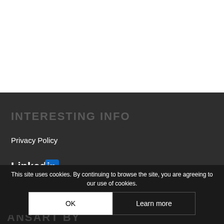INTERESTING INFO
Privacy Policy
[Figure (logo): LinkedIn logo — 'Linked' text in white followed by 'in' in white on a blue rounded-rectangle background]
This site uses cookies. By continuing to browse the site, you are agreeing to our use of cookies.
OK
Learn more
ANSART BY